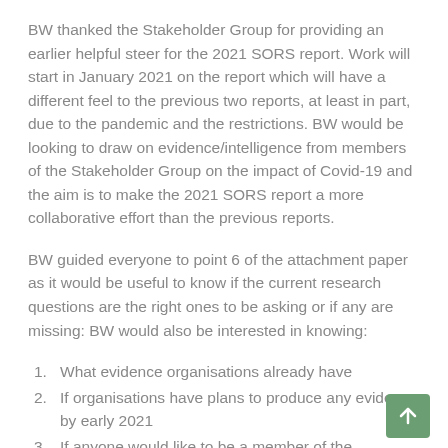BW thanked the Stakeholder Group for providing an earlier helpful steer for the 2021 SORS report. Work will start in January 2021 on the report which will have a different feel to the previous two reports, at least in part, due to the pandemic and the restrictions. BW would be looking to draw on evidence/intelligence from members of the Stakeholder Group on the impact of Covid-19 and the aim is to make the 2021 SORS report a more collaborative effort than the previous reports.
BW guided everyone to point 6 of the attachment paper as it would be useful to know if the current research questions are the right ones to be asking or if any are missing: BW would also be interested in knowing:
What evidence organisations already have
If organisations have plans to produce any evidence by early 2021
If anyone would like to be a member of the proposed project Task and Finish Group to review outputs and